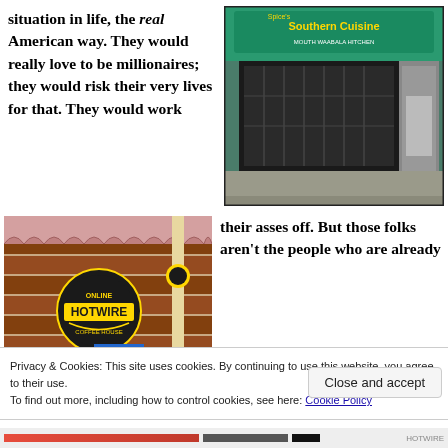situation in life, the real American way. They would really love to be millionaires; they would risk their very lives for that. They would work
[Figure (photo): Storefront with green awning reading 'Southern Cuisine', decorative iron gate, street scene]
[Figure (photo): Hotwire Online Coffee House sign on brick wall exterior]
their asses off. But those folks aren't the people who are already
Privacy & Cookies: This site uses cookies. By continuing to use this website, you agree to their use.
To find out more, including how to control cookies, see here: Cookie Policy
Close and accept